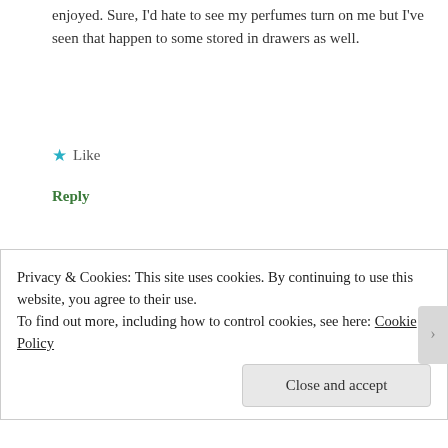enjoyed. Sure, I'd hate to see my perfumes turn on me but I've seen that happen to some stored in drawers as well.
Like
Reply
[Figure (photo): Circular avatar image with blue background showing a hand and flower, belonging to user Undina]
Undina | June 8, 2015 at 5:36 pm
Poodle, I know exactly what you mean with the saving for special occasion! I come from the country where it was a regular behavior for generations. While I completely understand why
Privacy & Cookies: This site uses cookies. By continuing to use this website, you agree to their use.
To find out more, including how to control cookies, see here: Cookie Policy
Close and accept